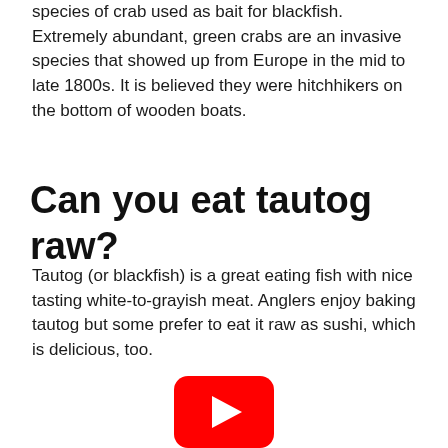species of crab used as bait for blackfish. Extremely abundant, green crabs are an invasive species that showed up from Europe in the mid to late 1800s. It is believed they were hitchhikers on the bottom of wooden boats.
Can you eat tautog raw?
Tautog (or blackfish) is a great eating fish with nice tasting white-to-grayish meat. Anglers enjoy baking tautog but some prefer to eat it raw as sushi, which is delicious, too.
[Figure (other): YouTube play button icon — red rounded rectangle with white triangle play arrow]